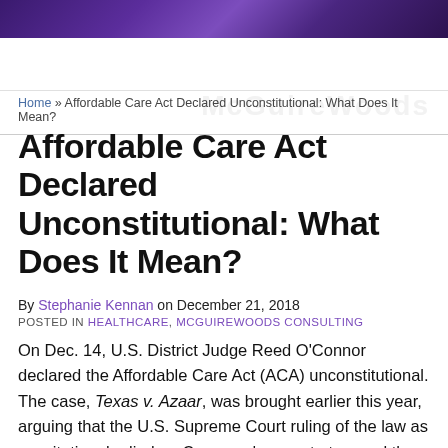Home » Affordable Care Act Declared Unconstitutional: What Does It Mean?
Affordable Care Act Declared Unconstitutional: What Does It Mean?
By Stephanie Kennan on December 21, 2018
POSTED IN HEALTHCARE, MCGUIREWOODS CONSULTING
On Dec. 14, U.S. District Judge Reed O'Connor declared the Affordable Care Act (ACA) unconstitutional. The case, Texas v. Azaar, was brought earlier this year, arguing that the U.S. Supreme Court ruling of the law as consitutional relied on Congress' power to tax, and the